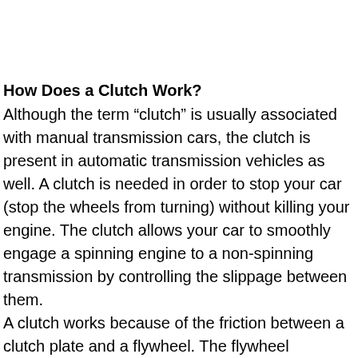How Does a Clutch Work?
Although the term “clutch” is usually associated with manual transmission cars, the clutch is present in automatic transmission vehicles as well. A clutch is needed in order to stop your car (stop the wheels from turning) without killing your engine. The clutch allows your car to smoothly engage a spinning engine to a non-spinning transmission by controlling the slippage between them.
A clutch works because of the friction between a clutch plate and a flywheel. The flywheel connects to the engine, and the clutch plate connects to the transmission. When your foot is off the pedal, springs